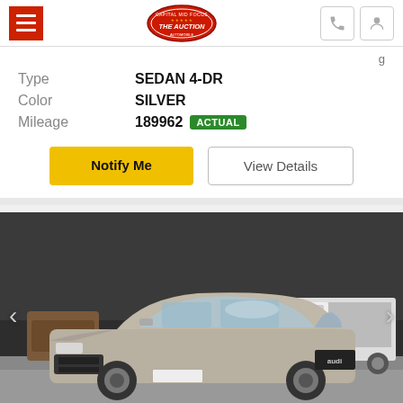The Auction — navigation header with hamburger menu, logo, phone icon, and user icon
Type: SEDAN 4-DR
Color: SILVER
Mileage: 189962 ACTUAL
Notify Me
View Details
[Figure (photo): Silver Audi A4 4-door sedan parked in a lot, dusty/dirty exterior, silver color, with a white flatbed tow truck in the background and other vehicles visible. Dark industrial building behind.]